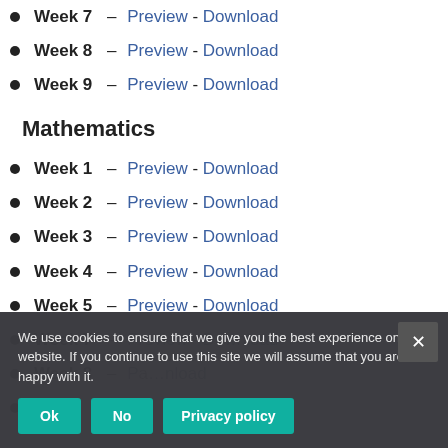Week 7 – Preview - Download
Week 8 – Preview - Download
Week 9 – Preview - Download
Mathematics
Week 1 – Preview - Download
Week 2 – Preview - Download
Week 3 – Preview - Download
Week 4 – Preview - Download
Week 5 – Preview - Download
Week 7 – Preview - Download
Week 8 – Preview - Download
Week 9 – Preview - Download (partially visible)
We use cookies to ensure that we give you the best experience on our website. If you continue to use this site we will assume that you are happy with it. [Ok] [No] [Privacy policy]